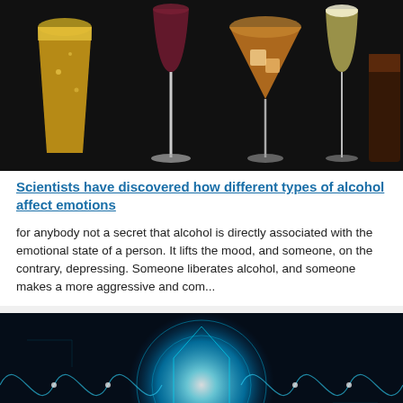[Figure (photo): Multiple types of alcoholic drinks in glasses against a black background, including beer, wine, cocktails, and mixed drinks with ice]
Scientists have discovered how different types of alcohol affect emotions
for anybody not a secret that alcohol is directly associated with the emotional state of a person. It lifts the mood, and someone, on the contrary, depressing. Someone liberates alcohol, and someone makes a more aggressive and com...
[Figure (illustration): Abstract blue glowing energy orb with geometric patterns and wave lines on a black background, resembling a brain or neural network visualization]